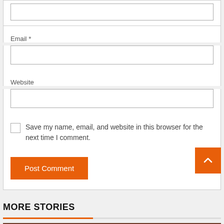Email *
Website
Save my name, email, and website in this browser for the next time I comment.
Post Comment
MORE STORIES
3 min read